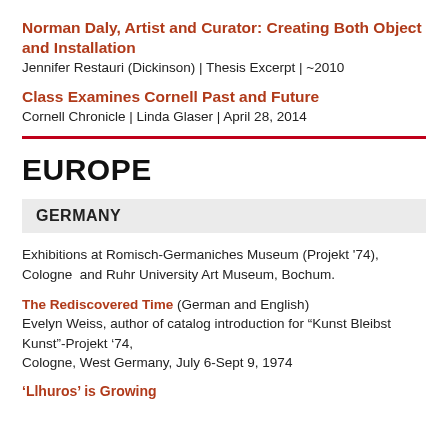Norman Daly, Artist and Curator: Creating Both Object and Installation
Jennifer Restauri (Dickinson) | Thesis Excerpt | ~2010
Class Examines Cornell Past and Future
Cornell Chronicle | Linda Glaser | April 28, 2014
EUROPE
GERMANY
Exhibitions at Romisch-Germaniches Museum (Projekt '74), Cologne  and Ruhr University Art Museum, Bochum.
The Rediscovered Time (German and English)
Evelyn Weiss, author of catalog introduction for “Kunst Bleibst Kunst”-Projekt ’74,
Cologne, West Germany, July 6-Sept 9, 1974
‘Llhuros’ is Growing